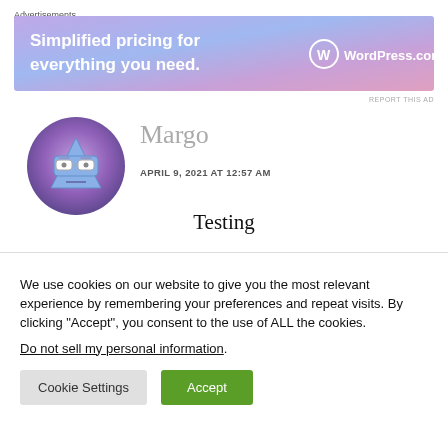Advertisements
[Figure (other): WordPress.com advertisement banner with text 'Simplified pricing for everything you need.' and WordPress.com logo on gradient purple/pink background]
[Figure (illustration): Circular avatar with purple background showing a cartoon geometric blue character wearing glasses]
Margo
APRIL 9, 2021 AT 12:57 AM
Testing
We use cookies on our website to give you the most relevant experience by remembering your preferences and repeat visits. By clicking “Accept”, you consent to the use of ALL the cookies.
Do not sell my personal information.
Cookie Settings
Accept